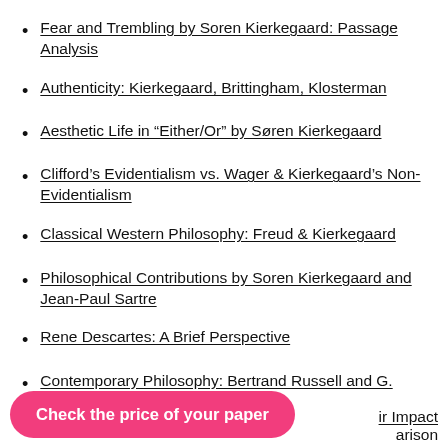Fear and Trembling by Soren Kierkegaard: Passage Analysis
Authenticity: Kierkegaard, Brittingham, Klosterman
Aesthetic Life in “Either/Or” by Søren Kierkegaard
Clifford's Evidentialism vs. Wager & Kierkegaard's Non-Evidentialism
Classical Western Philosophy: Freud & Kierkegaard
Philosophical Contributions by Soren Kierkegaard and Jean-Paul Sartre
Rene Descartes: A Brief Perspective
Contemporary Philosophy: Bertrand Russell and G. Moore
eir Impact
arison
Check the price of your paper